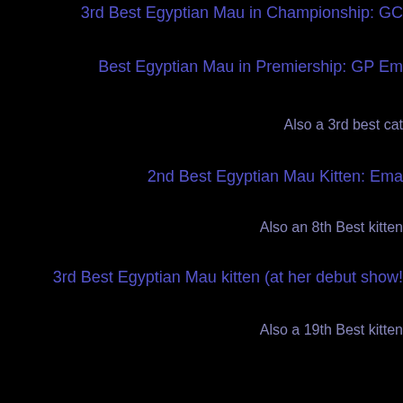3rd Best Egyptian Mau in Championship: GC
Best Egyptian Mau in Premiership: GP Em
Also a 3rd best cat
2nd Best Egyptian Mau Kitten: Ema
Also an 8th Best kitten
3rd Best Egyptian Mau kitten (at her debut show!
Also a 19th Best kitten
Kansas City in the year 2000.... an unbelievable three days th more melodrama or emotion.... When we packed the car for t the Gills... In the car we had 8 incredible Maus including my precious cargo, we drove CAREFULLY! The entire weekend that Pounce and I never had... Incredibly emotional for me an
Although she had not shown since the end of the last season a her babies, Pounce took the long trip and re-introduction bac forget taking her to the first ring... I had already put Kyrie an Championship were already up as well - So when I went bac